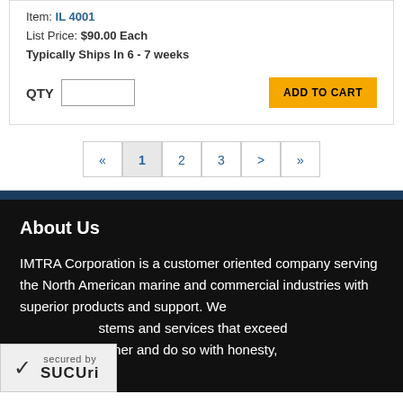Item: IL4001
List Price: $90.00 Each
Typically Ships In 6 - 7 weeks
QTY [input] ADD TO CART
« 1 2 3 > »
About Us
IMTRA Corporation is a customer oriented company serving the North American marine and commercial industries with superior products and support. We [provide sys]tems and services that exceed [every cus]tomer and do so with honesty,